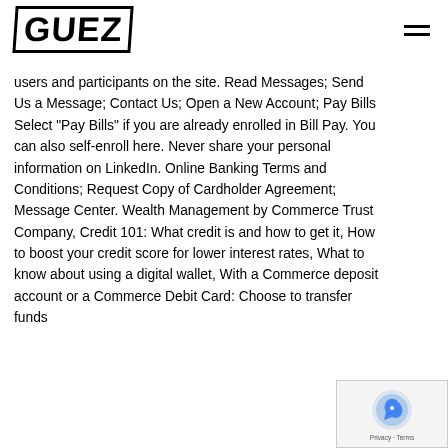GUEZ
users and participants on the site. Read Messages; Send Us a Message; Contact Us; Open a New Account; Pay Bills Select "Pay Bills" if you are already enrolled in Bill Pay. You can also self-enroll here. Never share your personal information on LinkedIn. Online Banking Terms and Conditions; Request Copy of Cardholder Agreement; Message Center. Wealth Management by Commerce Trust Company, Credit 101: What credit is and how to get it, How to boost your credit score for lower interest rates, What to know about using a digital wallet, With a Commerce deposit account or a Commerce Debit Card: Choose to transfer funds